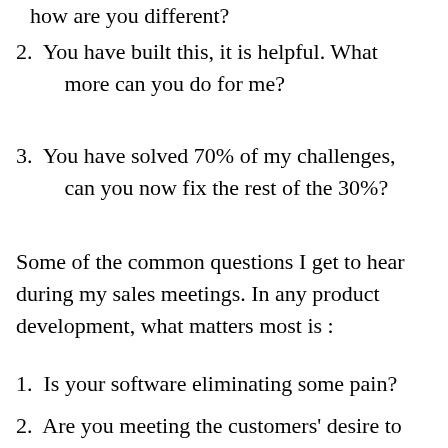how are you different?
2. You have built this, it is helpful. What more can you do for me?
3. You have solved 70% of my challenges, can you now fix the rest of the 30%?
Some of the common questions I get to hear during my sales meetings. In any product development, what matters most is :
1. Is your software eliminating some pain?
2. Are you meeting the customers' desire to